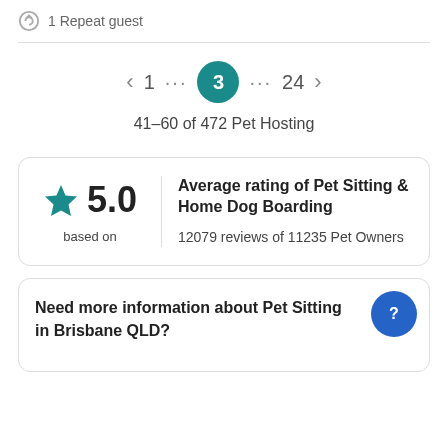1 Repeat guest
< 1 … 3 … 24 >
41–60 of 472 Pet Hosting
★ 5.0
based on
Average rating of Pet Sitting & Home Dog Boarding
12079 reviews of 11235 Pet Owners
Need more information about Pet Sitting in Brisbane QLD?